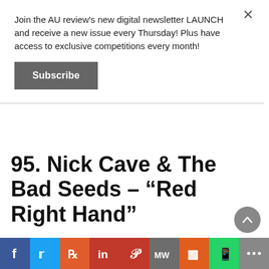Join the AU review's new digital newsletter LAUNCH and receive a new issue every Thursday! Plus have access to exclusive competitions every month!
Subscribe
95. Nick Cave & The Bad Seeds – “Red Right Hand”